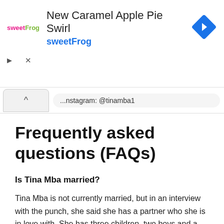[Figure (other): Advertisement banner for sweetFrog New Caramel Apple Pie Swirl, showing the sweetFrog logo, headline text, brand name in blue, and a blue diamond navigation icon on the right. Play and close controls appear below.]
...nstagram: @tinamba1
Frequently asked questions (FAQs)
Is Tina Mba married?
Tina Mba is not currently married, but in an interview with the punch, she said she has a partner who she is in love with. She has three children, two boys and a girl.
What is Tina Mba net worth?